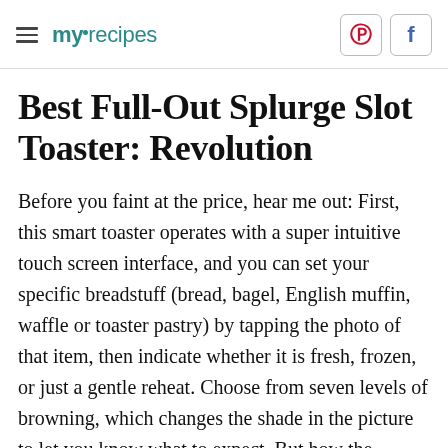myrecipes
Best Full-Out Splurge Slot Toaster: Revolution
Before you faint at the price, hear me out: First, this smart toaster operates with a super intuitive touch screen interface, and you can set your specific breadstuff (bread, bagel, English muffin, waffle or toaster pastry) by tapping the photo of that item, then indicate whether it is fresh, frozen, or just a gentle reheat. Choose from seven levels of browning, which changes the shade in the picture to let you know what to expect. But how the Revolution truly sets itself apart is the combination of speed and consistency. This